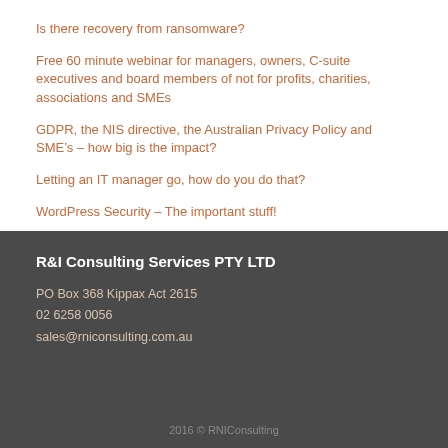Is there recovery from ransomware?
Free 60 minute webinar for managers, owners, C-suite executives and board members of not for profits, charities, associations and SMEs
GDPR, the NIS directive, the Australian Privacy Policy and SME’s – how big is the impact?
Letting an IT manager go, how do you do that?
WordPress Security – The important stuff!
R&I Consulting Services PTY LTD
PO Box 368 Kippax Act 2615
02 6258 0056
sales@rniconsulting.com.au
2016 © RNIConsulting